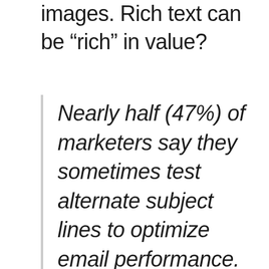images. Rich text can be “rich” in value?
Nearly half (47%) of marketers say they sometimes test alternate subject lines to optimize email performance.
(Marketing Profs, 2012)